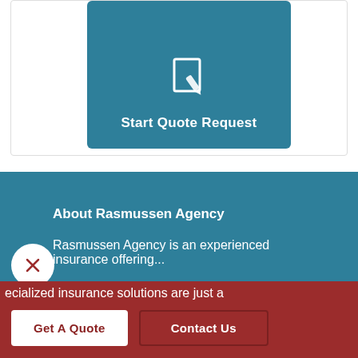[Figure (screenshot): Teal button card with document/edit icon and 'Start Quote Request' label on a white card background]
About Rasmussen Agency
Rasmussen Agency is an experienced insurance offering...
ecialized insurance solutions are just a
Get A Quote
Contact Us